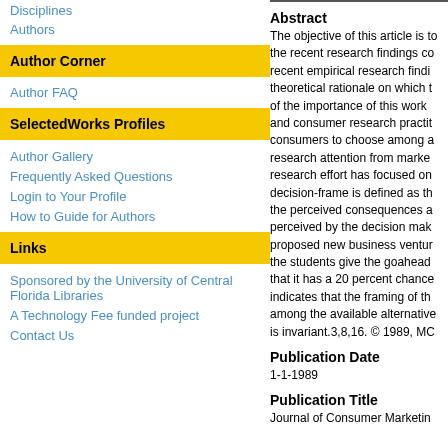Disciplines
Authors
Author Corner
Author FAQ
SelectedWorks Profiles
Author Gallery
Frequently Asked Questions
Login to Your Profile
How to Guide for Authors
Links
Sponsored by the University of Central Florida Libraries
A Technology Fee funded project
Contact Us
Abstract
The objective of this article is to the recent research findings co recent empirical research findi theoretical rationale on which t of the importance of this work and consumer research practit consumers to choose among a research attention from marke research effort has focused on decision-frame is defined as th the perceived consequences a perceived by the decision mak proposed new business ventur the students give the goahead that it has a 20 percent chance indicates that the framing of th among the available alternative is invariant.3,8,16. © 1989, MC
Publication Date
1-1-1989
Publication Title
Journal of Consumer Marketin